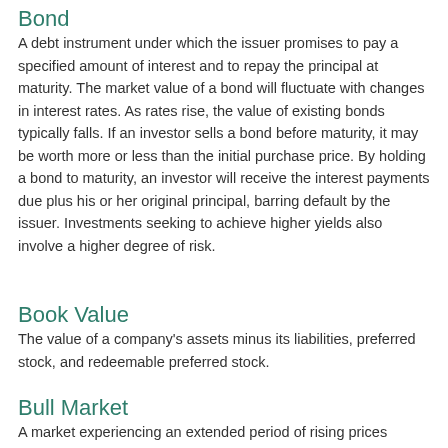Bond
A debt instrument under which the issuer promises to pay a specified amount of interest and to repay the principal at maturity. The market value of a bond will fluctuate with changes in interest rates. As rates rise, the value of existing bonds typically falls. If an investor sells a bond before maturity, it may be worth more or less than the initial purchase price. By holding a bond to maturity, an investor will receive the interest payments due plus his or her original principal, barring default by the issuer. Investments seeking to achieve higher yields also involve a higher degree of risk.
Book Value
The value of a company’s assets minus its liabilities, preferred stock, and redeemable preferred stock.
Bull Market
A market experiencing an extended period of rising prices